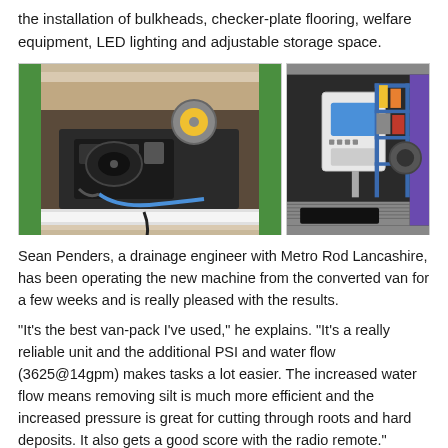the installation of bulkheads, checker-plate flooring, welfare equipment, LED lighting and adjustable storage space.
[Figure (photo): Two photos side by side showing the interior of a converted van. Left photo shows high-pressure water jetting equipment including hose reels and pump unit mounted in the rear of a van with green exterior. Right photo shows the interior storage shelving, control panel with touchscreen, checker-plate flooring, and tool storage in a dark-fitted van.]
Sean Penders, a drainage engineer with Metro Rod Lancashire, has been operating the new machine from the converted van for a few weeks and is really pleased with the results.
"It's the best van-pack I've used," he explains. "It's a really reliable unit and the additional PSI and water flow (3625@14gpm) makes tasks a lot easier. The increased water flow means removing silt is much more efficient and the increased pressure is great for cutting through roots and hard deposits. It also gets a good score with the radio remote."